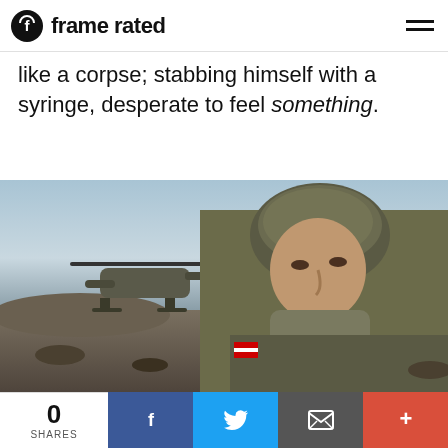frame rated
like a corpse; stabbing himself with a syringe, desperate to feel something.
[Figure (photo): A soldier in military uniform and helmet stands in a desert landscape with a helicopter in the background. The soldier wears an American flag patch and looks slightly to the side.]
0 SHARES | Facebook | Twitter | Email | More